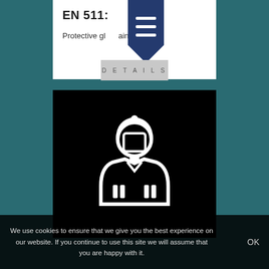EN 511:
Protective gloves against cold
DETAILS
[Figure (illustration): White icon of a worker/firefighter figure on a black background, showing a person with a hard hat, face shield, and uniform with pockets]
We use cookies to ensure that we give you the best experience on our website. If you continue to use this site we will assume that you are happy with it.
OK